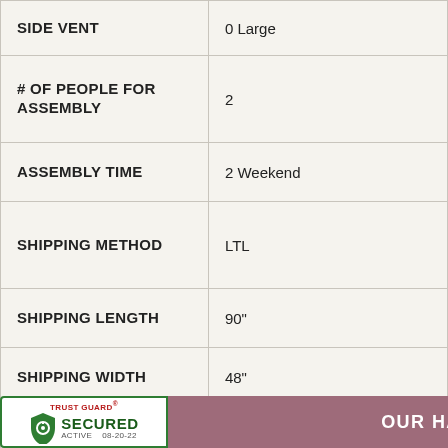| Attribute | Value |
| --- | --- |
| SIDE VENT | 0 Large |
| # OF PEOPLE FOR ASSEMBLY | 2 |
| ASSEMBLY TIME | 2 Weekend |
| SHIPPING METHOD | LTL |
| SHIPPING LENGTH | 90" |
| SHIPPING WIDTH | 48" |
| SHIPPING HEIGHT | 40" |
| SHIP BOX | 1 Pallet and 3 Long Boxes |
[Figure (other): Trust Guard Secured badge and 'OUR HAPPY CUSTOMERS' promotional banner overlay at the bottom of the page]